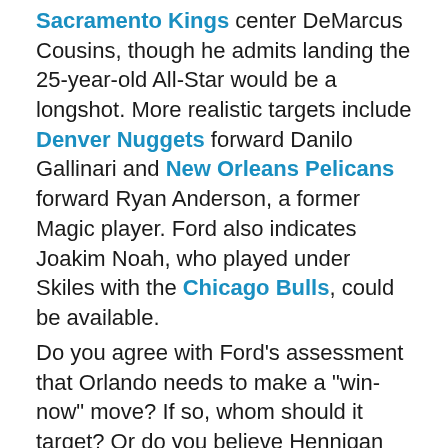Sacramento Kings center DeMarcus Cousins, though he admits landing the 25-year-old All-Star would be a longshot. More realistic targets include Denver Nuggets forward Danilo Gallinari and New Orleans Pelicans forward Ryan Anderson, a former Magic player. Ford also indicates Joakim Noah, who played under Skiles with the Chicago Bulls, could be available.
Do you agree with Ford's assessment that Orlando needs to make a "win-now" move? If so, whom should it target? Or do you believe Hennigan should stay the course with his surprisingly strong club?